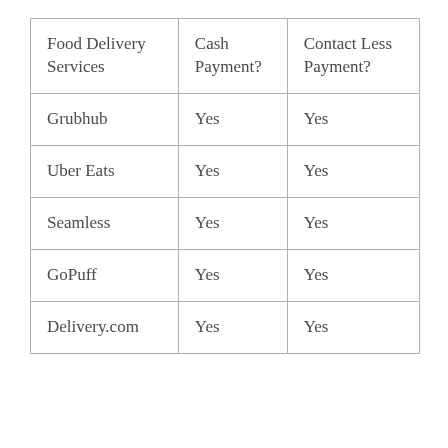| Food Delivery Services | Cash Payment? | Contact Less Payment? |
| --- | --- | --- |
| Grubhub | Yes | Yes |
| Uber Eats | Yes | Yes |
| Seamless | Yes | Yes |
| GoPuff | Yes | Yes |
| Delivery.com | Yes | Yes |